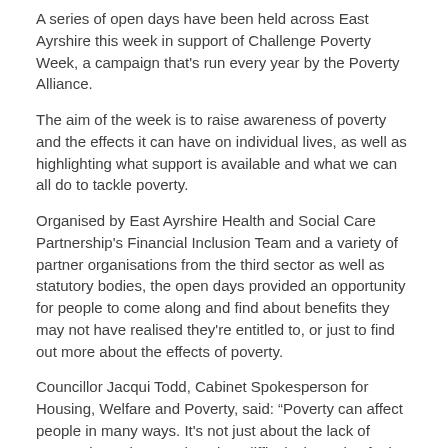A series of open days have been held across East Ayrshire this week in support of Challenge Poverty Week, a campaign that's run every year by the Poverty Alliance.
The aim of the week is to raise awareness of poverty and the effects it can have on individual lives, as well as highlighting what support is available and what we can all do to tackle poverty.
Organised by East Ayrshire Health and Social Care Partnership's Financial Inclusion Team and a variety of partner organisations from the third sector as well as statutory bodies, the open days provided an opportunity for people to come along and find about benefits they may not have realised they're entitled to, or just to find out more about the effects of poverty.
Councillor Jacqui Todd, Cabinet Spokesperson for Housing, Welfare and Poverty, said: “Poverty can affect people in many ways. It's not just about the lack of money; it can be poor housing, difficulty in paying fuel bills or the daily effects that poverty can have on children and the longer term effects on their education and future employment prospects.
“Poverty affects those in work as well as those on benefits, with